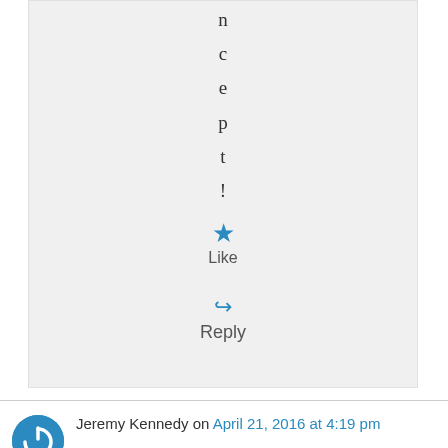n
c
e
p
t
!
★ Like
↳ Reply
Jeremy Kennedy on April 21, 2016 at 4:19 pm
Monk – this is perhaps the most earnest and enjoyable reads about this release that I've read